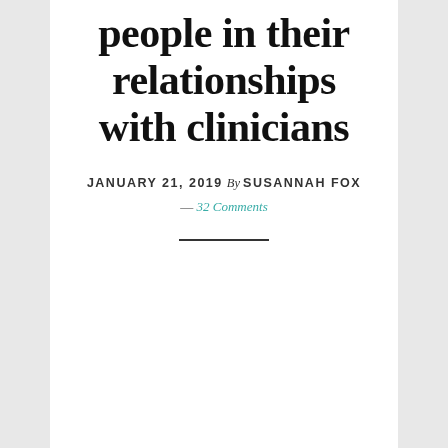people in their relationships with clinicians
JANUARY 21, 2019 By SUSANNAH FOX — 32 Comments